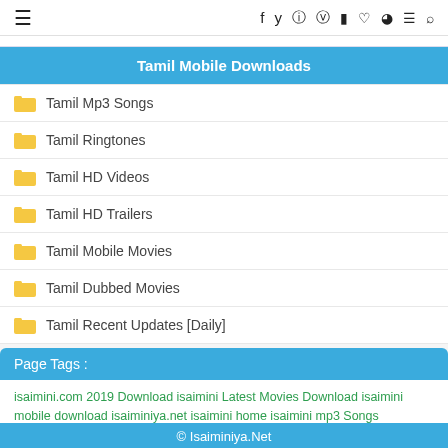≡  f  🐦  ©  𝐏  ▶  ♡  👤  ≡  🔍
Tamil Mobile Downloads
📁 Tamil Mp3 Songs
📁 Tamil Ringtones
📁 Tamil HD Videos
📁 Tamil HD Trailers
📁 Tamil Mobile Movies
📁 Tamil Dubbed Movies
📁 Tamil Recent Updates [Daily]
Page Tags :
isaimini.com 2019 Download isaimini Latest Movies Download isaimini mobile download isaiminiya.net isaimini home isaimini mp3 Songs Download isaimini 2020 tamil mp3 Songs Download Tamil 2020 Mp3 Songs Download
© Isaiminiya.Net